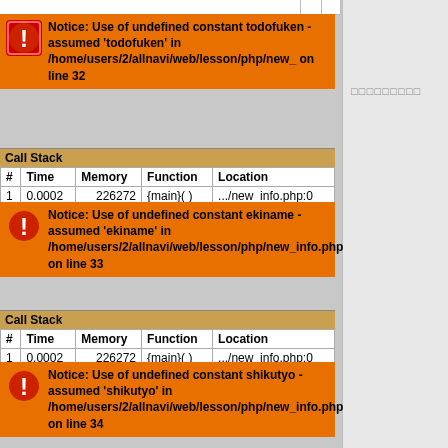|  |  |  |
| --- | --- | --- |
|  |  |  |
Notice: Use of undefined constant todofuken - assumed 'todofuken' in /home/users/2/allnavi/web/lesson/php/new_ on line 32
| # | Time | Memory | Function | Location |
| --- | --- | --- | --- | --- |
| 1 | 0.0002 | 226272 | {main}( ) | .../new_info.php:0 |
Notice: Use of undefined constant ekiname - assumed 'ekiname' in /home/users/2/allnavi/web/lesson/php/new_info.php on line 33
| # | Time | Memory | Function | Location |
| --- | --- | --- | --- | --- |
| 1 | 0.0002 | 226272 | {main}( ) | .../new_info.php:0 |
Notice: Use of undefined constant shikutyo - assumed 'shikutyo' in /home/users/2/allnavi/web/lesson/php/new_info.php on line 34
| # | Time | Memory | Function | Location |
| --- | --- | --- | --- | --- |
| 1 | 0.0002 | 226272 | {main}( ) | .../new_info.php:0 |
Notice: Use of undefined constant kate3 - assumed 'kate3' in /home/users/2/allnavi/web/lesson/php/new_info.php on line 35